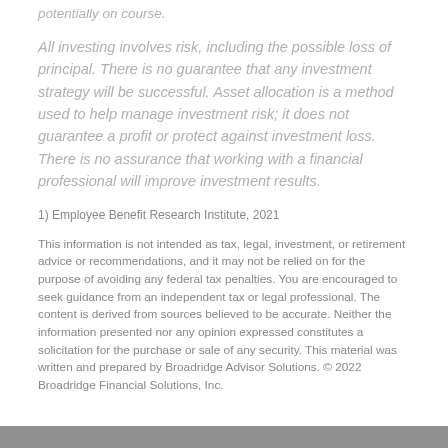potentially on course.
All investing involves risk, including the possible loss of principal. There is no guarantee that any investment strategy will be successful. Asset allocation is a method used to help manage investment risk; it does not guarantee a profit or protect against investment loss. There is no assurance that working with a financial professional will improve investment results.
1) Employee Benefit Research Institute, 2021
This information is not intended as tax, legal, investment, or retirement advice or recommendations, and it may not be relied on for the purpose of avoiding any federal tax penalties. You are encouraged to seek guidance from an independent tax or legal professional. The content is derived from sources believed to be accurate. Neither the information presented nor any opinion expressed constitutes a solicitation for the purchase or sale of any security. This material was written and prepared by Broadridge Advisor Solutions. © 2022 Broadridge Financial Solutions, Inc.